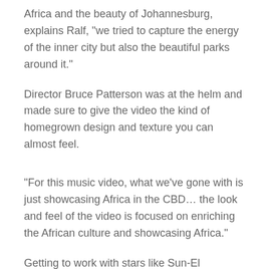Africa and the beauty of Johannesburg," explains Ralf, "we tried to capture the energy of the inner city but also the beautiful parks around it."
Director Bruce Patterson was at the helm and made sure to give the video the kind of homegrown design and texture you can almost feel.
"For this music video, what we've gone with is just showcasing Africa in the CBD… the look and feel of the video is focused on enriching the African culture and showcasing Africa."
Getting to work with stars like Sun-El Musician and Kenza was a true reward for Lead Chorister Thulisile Masanabo.
"Working on this album has been a bit hard due to lockdown…